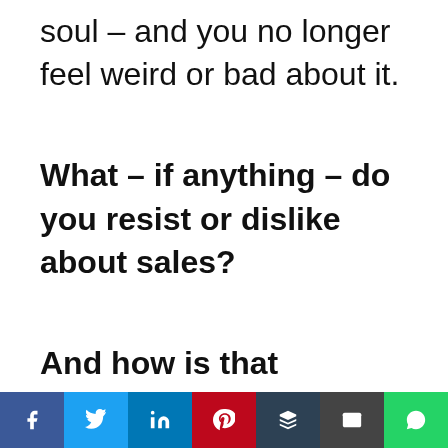soul – and you no longer feel weird or bad about it.
What – if anything – do you resist or dislike about sales?
And how is that impacting
[Figure (infographic): Social media share bar with icons for Facebook, Twitter, LinkedIn, Pinterest, Buffer, Email, and WhatsApp]